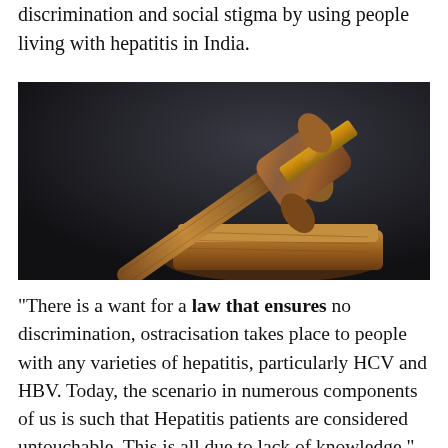discrimination and social stigma by using people living with hepatitis in India.
[Figure (photo): A wooden judge's gavel resting on its sound block against a dark background.]
“There is a want for a law that ensures no discrimination, ostracisation takes place to people with any varieties of hepatitis, particularly HCV and HBV. Today, the scenario in numerous components of us is such that Hepatitis patients are considered untouchable. This is all due to lack of knowledge,” ILBS Director S K Sarin said at a